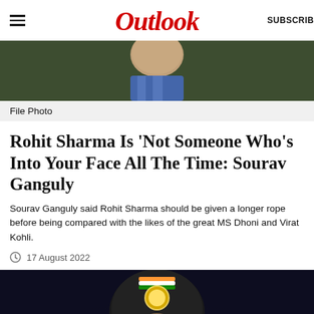Outlook
[Figure (photo): Top portion of a person wearing a blue shirt/collar, cropped to show chin and neck area against a dark background]
File Photo
Rohit Sharma Is 'Not Someone Who's Into Your Face All The Time: Sourav Ganguly
Sourav Ganguly said Rohit Sharma should be given a longer rope before being compared with the likes of the great MS Dhoni and Virat Kohli.
17 August 2022
[Figure (photo): Cricket player wearing a black helmet with BCCI logo and Indian flag, close-up shot with dark stadium background]